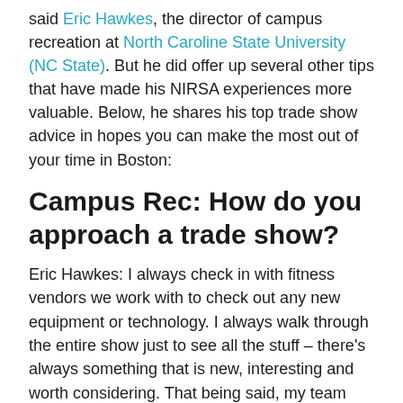said Eric Hawkes, the director of campus recreation at North Caroline State University (NC State). But he did offer up several other tips that have made his NIRSA experiences more valuable. Below, he shares his top trade show advice in hopes you can make the most out of your time in Boston:
Campus Rec: How do you approach a trade show?
Eric Hawkes: I always check in with fitness vendors we work with to check out any new equipment or technology. I always walk through the entire show just to see all the stuff – there's always something that is new, interesting and worth considering. That being said, my team has specific vendors they want/need to see based on their role. I always check in with the team and find out if there's something they want me to see and explore further with them.